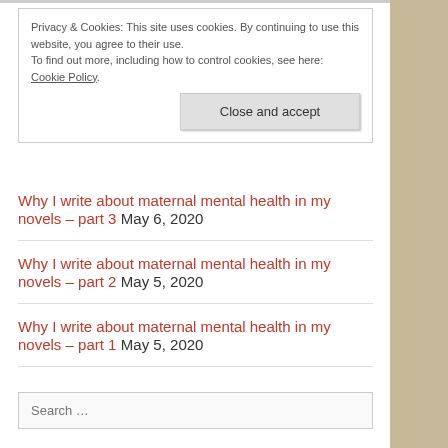Privacy & Cookies: This site uses cookies. By continuing to use this website, you agree to their use. To find out more, including how to control cookies, see here: Cookie Policy.
Close and accept
Why I write about maternal mental health in my novels – part 3 May 6, 2020
Why I write about maternal mental health in my novels – part 2 May 5, 2020
Why I write about maternal mental health in my novels – part 1 May 5, 2020
Search …